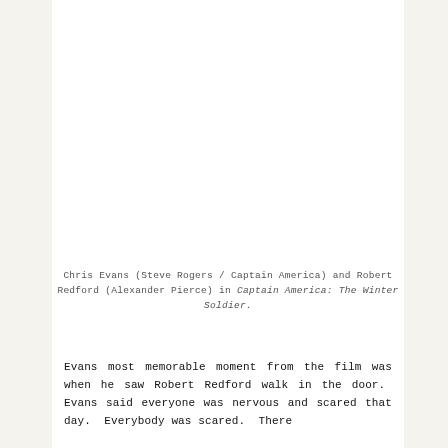Chris Evans (Steve Rogers / Captain America) and Robert Redford (Alexander Pierce) in Captain America: The Winter Soldier.
Evans most memorable moment from the film was when he saw Robert Redford walk in the door. Evans said everyone was nervous and scared that day. Everybody was scared. There